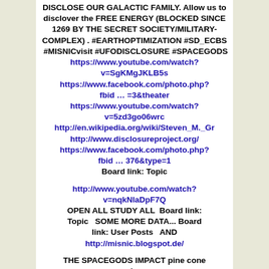DISCLOSE OUR GALACTIC FAMILY. Allow us to disclover the FREE ENERGY (BLOCKED SINCE 1269 BY THE SECRET SOCIETY/MILITARY-COMPLEX) . #EARTHOPTIMIZATION #SD_ECBS  #MISNICvisit #UFODISCLOSURE #SPACEGODS https://www.youtube.com/watch?v=SgKMgJKLB5s https://www.facebook.com/photo.php?fbid … =3&theater https://www.youtube.com/watch?v=5zd3go06wrc http://en.wikipedia.org/wiki/Steven_M._Gr http://www.disclosureproject.org/ https://www.facebook.com/photo.php?fbid … 376&type=1 Board link: Topic http://www.youtube.com/watch?v=nqkNlaDpF7Q OPEN ALL STUDY ALL  Board link: Topic   SOME MORE DATA... Board link: User Posts   AND http://misnic.blogspot.de/ THE SPACEGODS IMPACT pine cone sign OPEN AND READ THE WHOLE INTRODUCTION SD_ECBS support the PINE CONE SIGN-DISCLOSURE CREATION OF